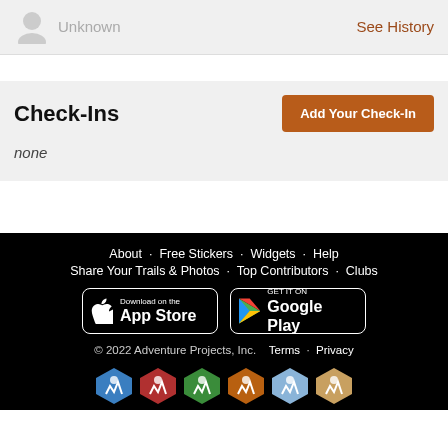Unknown   See History
Check-Ins
Add Your Check-In
none
About · Free Stickers · Widgets · Help
Share Your Trails & Photos · Top Contributors · Clubs
Download on the App Store | GET IT ON Google Play
© 2022 Adventure Projects, Inc.   Terms · Privacy